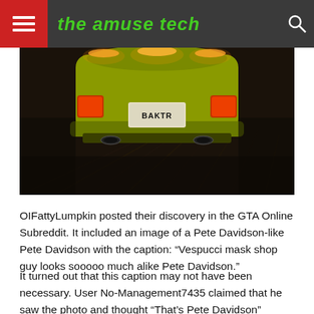the amuse tech
[Figure (photo): Dark overhead shot of the rear of a yellow/green sports car with a license plate reading 'BAKTR' on a dark asphalt road surface, with warm amber/orange lighting along the top edge of the car.]
OIFattyLumpkin posted their discovery in the GTA Online Subreddit. It included an image of a Pete Davidson-like Pete Davidson with the caption: “Vespucci mask shop guy looks sooooo much alike Pete Davidson.”
It turned out that this caption may not have been necessary. User No-Management7435 claimed that he saw the photo and thought “That’s Pete Davidson” before he read the post.